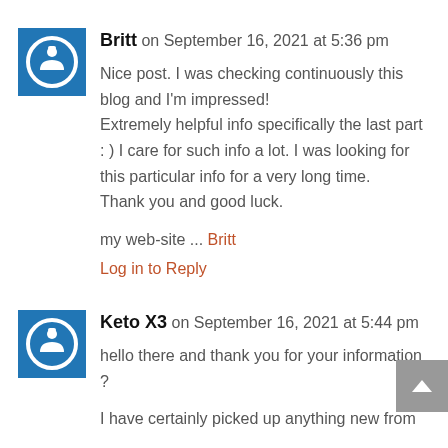Britt on September 16, 2021 at 5:36 pm
Nice post. I was checking continuously this blog and I'm impressed!
Extremely helpful info specifically the last part :) I care for such info a lot. I was looking for this particular info for a very long time.
Thank you and good luck.

my web-site ... Britt
Log in to Reply
Keto X3 on September 16, 2021 at 5:44 pm
hello there and thank you for your information ?

I have certainly picked up anything new from